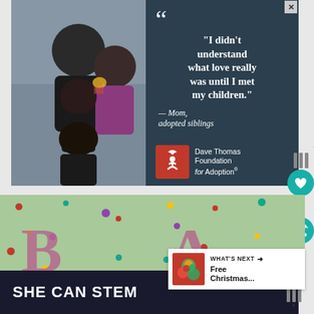[Figure (photo): Advertisement banner for Dave Thomas Foundation for Adoption. Left side shows a photo of a smiling Black family (man, woman, and two children). Right side on dark teal background shows quote: 'I didn't understand what love really was until I met my children.' — Mom, adopted siblings. Dave Thomas Foundation for Adoption logo at bottom right.]
[Figure (illustration): Two side-by-side panels with light green background and colorful confetti dots. Left panel shows large letter 'B' in mauve/purple. Right panel shows letter 'A' in mauve/purple. Part of a series.]
[Figure (screenshot): WHAT'S NEXT panel showing a thumbnail and text 'Free Christmas...']
[Figure (infographic): Dark navy bottom bar with bold white text 'SHE CAN STEM']